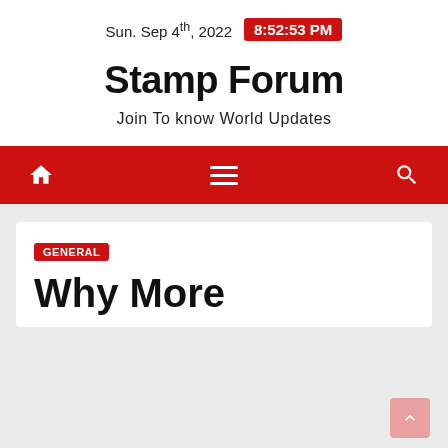Sun. Sep 4th, 2022  8:52:53 PM
Stamp Forum
Join To know World Updates
[Figure (other): Red navigation bar with home icon, hamburger menu, and search icon]
GENERAL
Why More